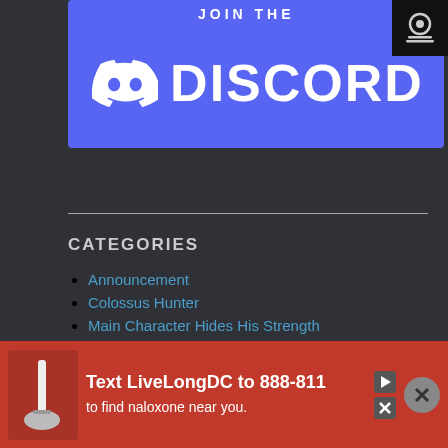[Figure (screenshot): Discord 'Join the Discord' banner with Discord logo and purple background]
CATEGORIES
Announcement
Colossus Hunter
Main Character Hides His Strength
Master Hunter K
Poten
Short Story
[Figure (screenshot): Advertisement banner: 'Text LiveLongDC to 888-811 to find naloxone near you.' Red background with PGH logo]